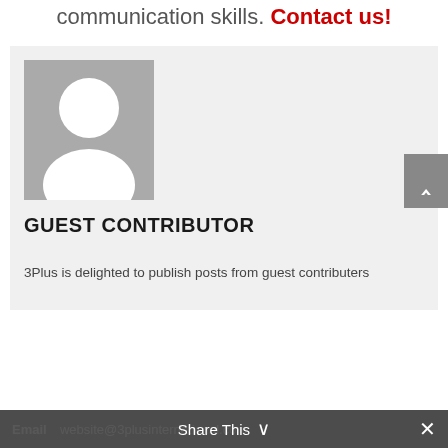communication skills. Contact us!
[Figure (photo): Guest contributor profile card with avatar placeholder (grey silhouette), name 'GUEST CONTRIBUTOR', and description text '3Plus is delighted to publish posts from guest contributers']
GUEST CONTRIBUTOR
3Plus is delighted to publish posts from guest contributers
Email website@3plusinternational.com  Share This ✕